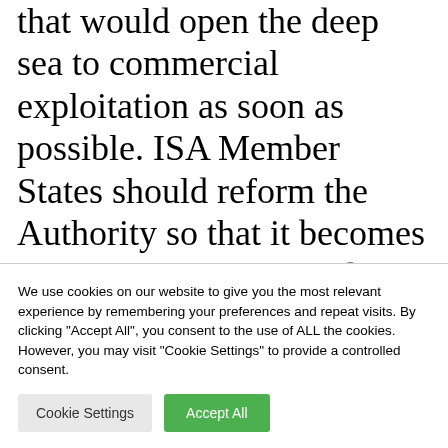that would open the deep sea to commercial exploitation as soon as possible. ISA Member States should reform the Authority so that it becomes a transparent, accountable, effective and inclusive regulatory body. Today's abrupt close to the meeting before observers were
We use cookies on our website to give you the most relevant experience by remembering your preferences and repeat visits. By clicking "Accept All", you consent to the use of ALL the cookies. However, you may visit "Cookie Settings" to provide a controlled consent.